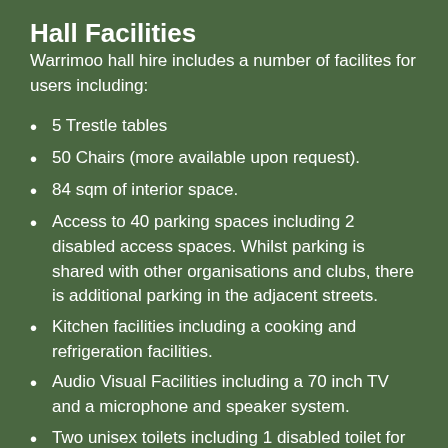Hall Facilities
Warrimoo hall hire includes a number of facilites for users including:
5 Trestle tables
50 Chairs (more available upon request).
84 sqm of interior space.
Access to 40 parking spaces including 2 disabled access spaces. Whilst parking is shared with other organisations and clubs, there is additional parking in the adjacent streets.
Kitchen facilities including a cooking and refrigeration facilities.
Audio Visual Facilities including a 70 inch TV and a microphone and speaker system.
Two unisex toilets including 1 disabled toilet for exclusive use of the hirer.